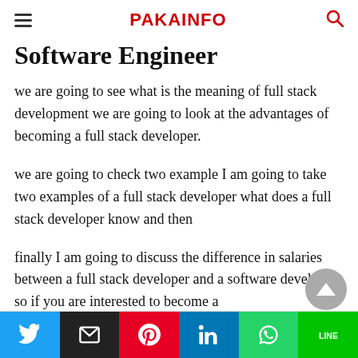PAKAINFO
Software Engineer
we are going to see what is the meaning of full stack development we are going to look at the advantages of becoming a full stack developer.
we are going to check two example I am going to take two examples of a full stack developer what does a full stack developer know and then
finally I am going to discuss the difference in salaries between a full stack developer and a software developer so if you are interested to become a